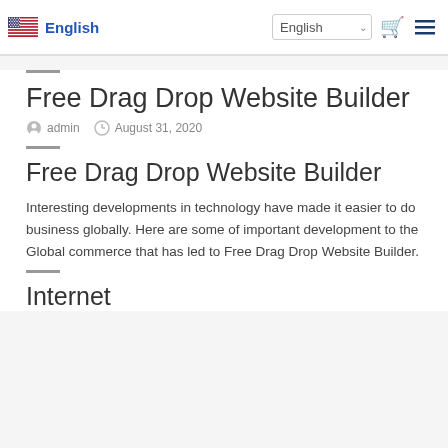English | English (dropdown) | cart icon | menu icon
Free Drag Drop Website Builder
admin  August 31, 2020
Free Drag Drop Website Builder
Interesting developments in technology have made it easier to do business globally. Here are some of important development to the Global commerce that has led to Free Drag Drop Website Builder.
Internet